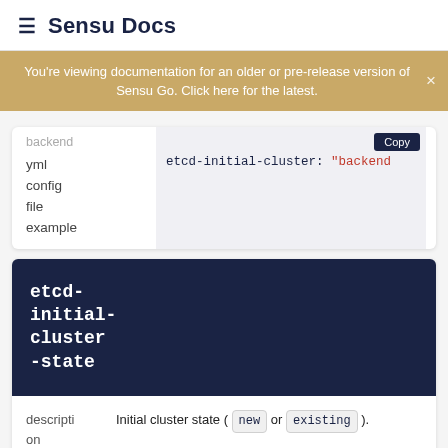≡ Sensu Docs
You're viewing documentation for an older or pre-release version of Sensu Go. Click here for the latest.
backend
yml
config
file
example
etcd-initial-cluster: "backend
etcd-initial-cluster-state
|  |  |
| --- | --- |
| description | Initial cluster state ( new or existing ). |